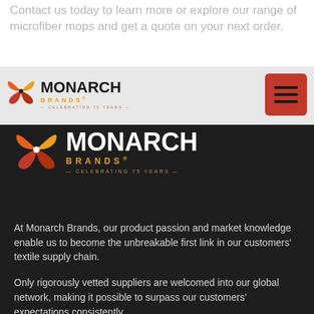Contact us today to learn more or explore our range of microfiber mops and get a quote on your next order.
[Figure (logo): Monarch Brands logo with butterfly emblem, 'MONARCH BRANDS® — CELEBRATING 75 YEARS —' in navigation bar]
[Figure (logo): Monarch Brands logo on dark background with butterfly emblem, 'MONARCH BRANDS® — CELEBRATING 75 YEARS —']
At Monarch Brands, our product passion and market knowledge enable us to become the unbreakable first link in our customers' textile supply chain.
Only rigorously vetted suppliers are welcomed into our global network, making it possible to surpass our customers' expectations consistently.